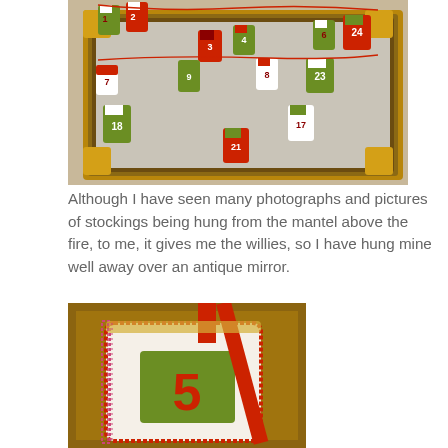[Figure (photo): A collection of small numbered Christmas stockings (advent calendar) in red, green and white felt, hung from an ornate gold antique mirror frame. Numbers visible include 1, 2, 3, 4, 6, 7, 8, 9, 17, 18, 21, 23, 24.]
Although I have seen many photographs and pictures of stockings being hung from the mantel above the fire, to me, it gives me the willies, so I have hung mine well away over an antique mirror.
[Figure (photo): Close-up of a single small felt Christmas stocking from the advent calendar, showing the number 5 embroidered in red on a green square patch, with decorative red and white trimming and a red ribbon.]